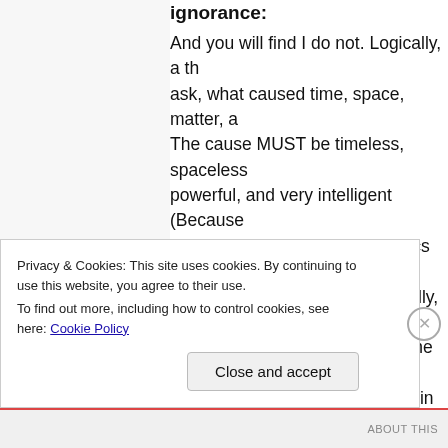ignorance:
And you will find I do not. Logically, a th ask, what caused time, space, matter, a The cause MUST be timeless, spaceless powerful, and very intelligent (Because amounts of information in physics and nothing, but you will find, ironically, thi bang/Evolutionists do much of the time failures in the models) with faith in the
Nothing comes from nothing- except th but SOMEDAY we will find out.
Life never comes from non-life- EXCEPT know, but SOMEDAY we will find out.
Privacy & Cookies: This site uses cookies. By continuing to use this website, you agree to their use.
To find out more, including how to control cookies, see here: Cookie Policy
Close and accept